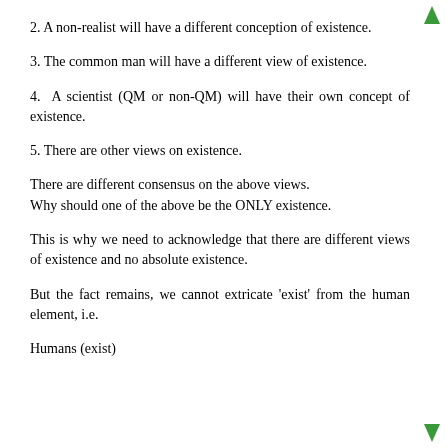2. A non-realist will have a different conception of existence.
3. The common man will have a different view of existence.
4.  A scientist (QM or non-QM) will have their own concept of existence.
5. There are other views on existence.
There are different consensus on the above views.
Why should one of the above be the ONLY existence.
This is why we need to acknowledge that there are different views of existence and no absolute existence.
But the fact remains, we cannot extricate 'exist' from the human element, i.e.
Humans (exist)